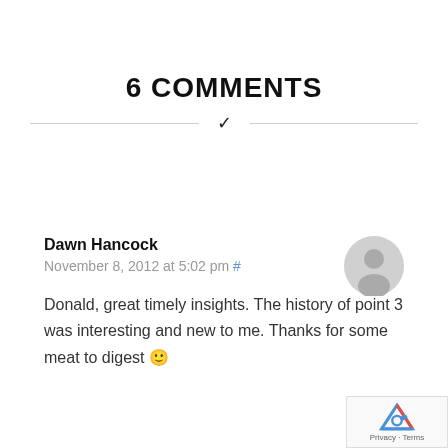6 COMMENTS
Dawn Hancock
November 8, 2012 at 5:02 pm #
Donald, great timely insights. The history of point 3 was interesting and new to me. Thanks for some meat to digest 🙂